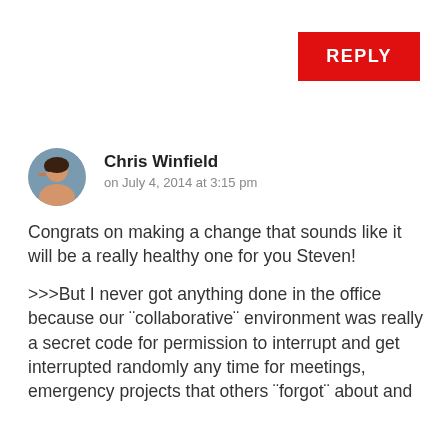REPLY
[Figure (photo): Circular avatar photo of Chris Winfield, a man with dark hair]
Chris Winfield
on July 4, 2014 at 3:15 pm
Congrats on making a change that sounds like it will be a really healthy one for you Steven!
>>>But I never got anything done in the office because our ¨collaborative¨ environment was really a secret code for permission to interrupt and get interrupted randomly any time for meetings, emergency projects that others ¨forgot¨ about and